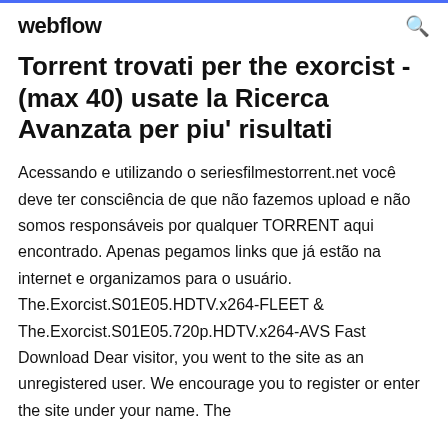webflow
Torrent trovati per the exorcist - (max 40) usate la Ricerca Avanzata per piu' risultati
Acessando e utilizando o seriesfilmestorrent.net você deve ter consciência de que não fazemos upload e não somos responsáveis por qualquer TORRENT aqui encontrado. Apenas pegamos links que já estão na internet e organizamos para o usuário. The.Exorcist.S01E05.HDTV.x264-FLEET & The.Exorcist.S01E05.720p.HDTV.x264-AVS Fast Download Dear visitor, you went to the site as an unregistered user. We encourage you to register or enter the site under your name. The